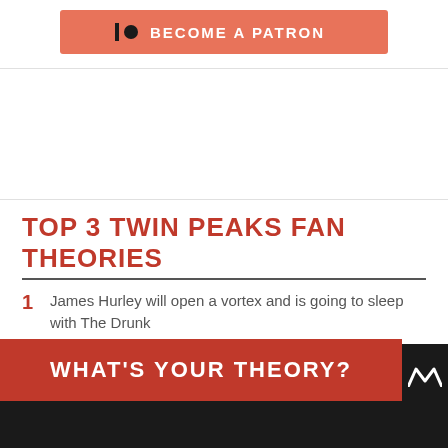[Figure (other): Patreon 'Become a Patron' button with Patreon logo icon in salmon/coral color]
TOP 3 TWIN PEAKS FAN THEORIES
1 James Hurley will open a vortex and is going to sleep with The Drunk
2 Denise Bryson is working with Charlie and is going to sleep with Bushnell Mullins
3 Wally Brando has a doppelganger and is going to sleep with Lucy Moran
WHAT'S YOUR THEORY?